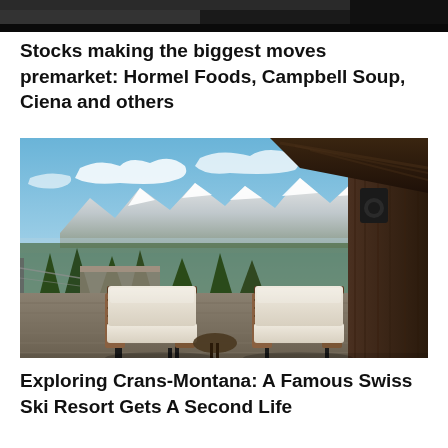[Figure (photo): Partial top image — dark background, appears to be a cropped photo]
Stocks making the biggest moves premarket: Hormel Foods, Campbell Soup, Ciena and others
[Figure (photo): Outdoor terrace of a Swiss chalet with two wicker armchairs with cream cushions, wooden deck, snow-capped Alpine mountains in background, pine trees, blue sky with clouds, rustic wooden roof overhang on the right]
Exploring Crans-Montana: A Famous Swiss Ski Resort Gets A Second Life